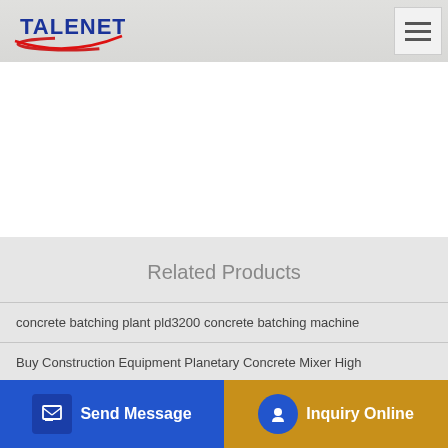[Figure (logo): TALENET logo with red swoosh and blue text]
Related Products
concrete batching plant pld3200 concrete batching machine
Buy Construction Equipment Planetary Concrete Mixer High
Mortar Concrete Pumping Machine Brazilian 1371
Send Message
Inquiry Online